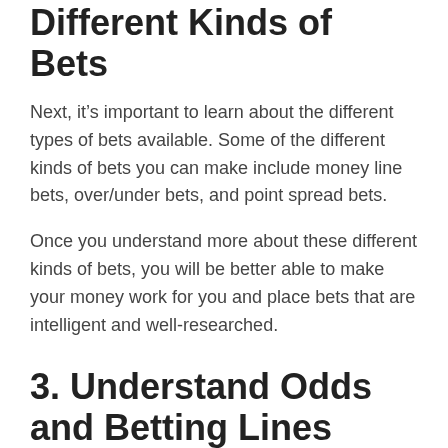Different Kinds of Bets
Next, it’s important to learn about the different types of bets available. Some of the different kinds of bets you can make include money line bets, over/under bets, and point spread bets.
Once you understand more about these different kinds of bets, you will be better able to make your money work for you and place bets that are intelligent and well-researched.
3. Understand Odds and Betting Lines
Study the odds anytime that you are getting ready to place a bet.